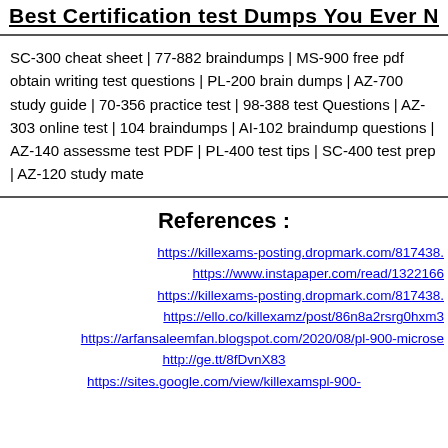Best Certification test Dumps You Ever N
SC-300 cheat sheet | 77-882 braindumps | MS-900 free pdf obtain writing test questions | PL-200 brain dumps | AZ-700 study guide | 70-356 practice test | 98-388 test Questions | AZ-303 online test | 104 braindumps | AI-102 braindump questions | AZ-140 assessment test PDF | PL-400 test tips | SC-400 test prep | AZ-120 study mate
References :
https://killexams-posting.dropmark.com/817438.
https://www.instapaper.com/read/1322166
https://killexams-posting.dropmark.com/817438.
https://ello.co/killexamz/post/86n8a2rsrg0hxm3
https://arfansaleemfan.blogspot.com/2020/08/pl-900-microse
http://ge.tt/8fDvnX83
https://sites.google.com/view/killexamspl-900-